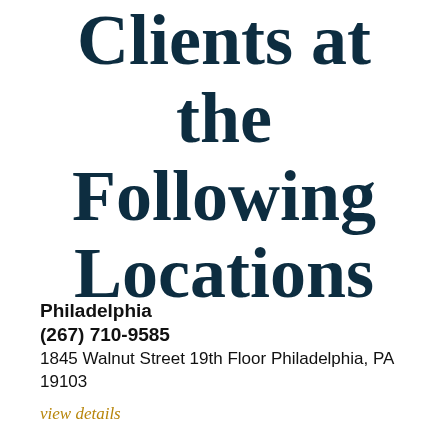Clients at the Following Locations
Philadelphia
(267) 710-9585
1845 Walnut Street 19th Floor Philadelphia, PA 19103
view details